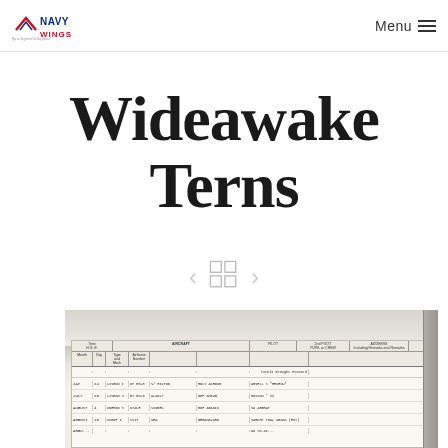Navy Wings | Menu
Wideawake Terns
[Figure (screenshot): Navigation UI with left arrow, grid/gallery icon (four squares), and right arrow chevron for browsing gallery items]
[Figure (photo): Photograph of an open RAF pilot logbook showing handwritten entries for July and August flights, with columns for Date, Aircraft (Type and Number), Pilot, 2nd Pilot/Pupil or Crew, and Remarks including Duty]